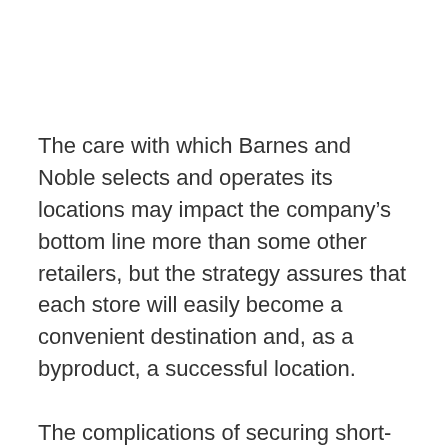The care with which Barnes and Noble selects and operates its locations may impact the company's bottom line more than some other retailers, but the strategy assures that each store will easily become a convenient destination and, as a byproduct, a successful location.
The complications of securing short-term or long-term leases in the midst of a changing economic climate and fickle customer...